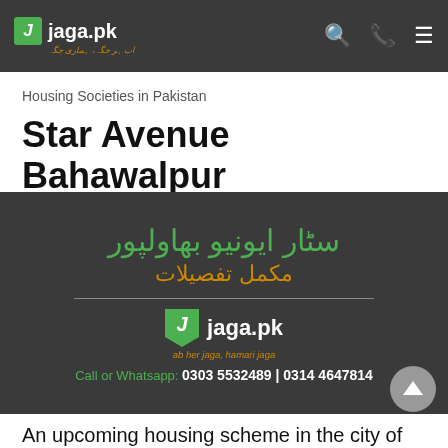jaga.pk
Housing Societies in Pakistan
Star Avenue Bahawalpur
[Figure (infographic): Dark banner with Urdu text 'Star Avenue Bahawalpur' (سٹار ایونیو بھاولپور) in green and 'مکمل تفصیلات' in orange, jaga.pk logo, and contact numbers 0303 5532489 | 0314 4647814]
An upcoming housing scheme in the city of